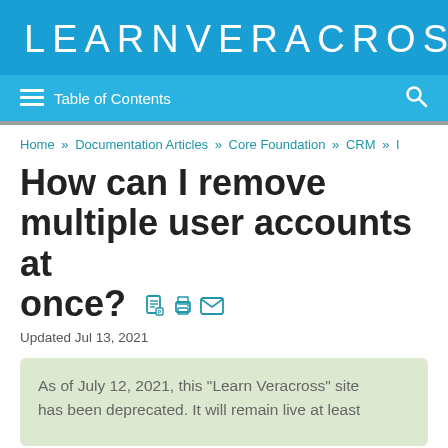LEARN VERACROSS
Table of Contents
Home » Documentation Articles » Core Foundation » CRM » I
How can I remove multiple user accounts at once?
Updated Jul 13, 2021
As of July 12, 2021, this "Learn Veracross" site has been deprecated. It will remain live at least